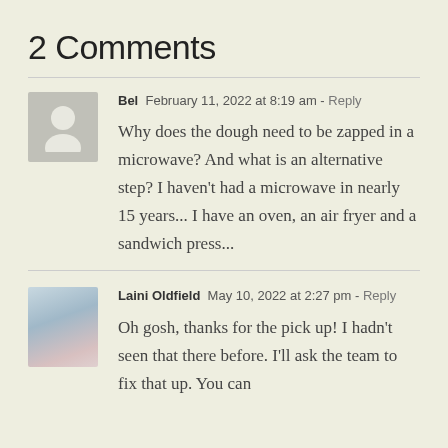2 Comments
Bel  February 11, 2022 at 8:19 am - Reply

Why does the dough need to be zapped in a microwave? And what is an alternative step? I haven't had a microwave in nearly 15 years... I have an oven, an air fryer and a sandwich press...
Laini Oldfield  May 10, 2022 at 2:27 pm - Reply

Oh gosh, thanks for the pick up! I hadn't seen that there before. I'll ask the team to fix that up. You can